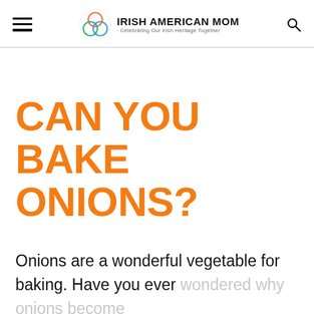Irish American Mom - Celebrating Our Irish Heritage Together
CAN YOU BAKE ONIONS?
Onions are a wonderful vegetable for baking. Have you ever wondered why onions become